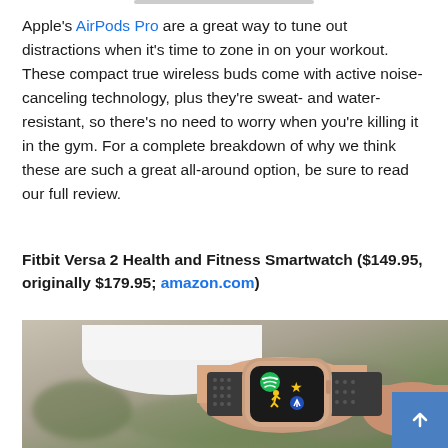Apple's AirPods Pro are a great way to tune out distractions when it's time to zone in on your workout. These compact true wireless buds come with active noise-canceling technology, plus they're sweat- and water-resistant, so there's no need to worry when you're killing it in the gym. For a complete breakdown of why we think these are such a great all-around option, be sure to read our full review.
Fitbit Versa 2 Health and Fitness Smartwatch ($149.95, originally $179.95; amazon.com)
[Figure (photo): A person wearing a Fitbit Versa 2 smartwatch on their wrist, showing the watch face with Spotify and fitness app icons on a dark screen. The person is wearing a white top. Background is blurred outdoor scene.]